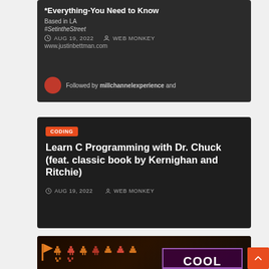[Figure (screenshot): Dark card showing a partial article header with title cut off at top, hashtag #SetintheStreet, website www.justinbettman.com, date AUG 19 2022, author WEB MONKEY, and 'Followed by millchannelexperience and' text with avatar]
Based in LA
#SetintheStreet
AUG 19, 2022  WEB MONKEY
www.justinbettman.com
Followed by millchannelexperience and
[Figure (screenshot): Dark article card with CODING badge, title 'Learn C Programming with Dr. Chuck (feat. classic book by Kernighan and Ritchie)', date AUG 19 2022, author WEB MONKEY]
CODING
Learn C Programming with Dr. Chuck (feat. classic book by Kernighan and Ritchie)
AUG 19, 2022  WEB MONKEY
[Figure (screenshot): Dark article card with retro gaming icons, Cool Retro Term logo box, LINUX badge, and title 'Cool Retro Term Is A Blast From The Past']
LINUX
Cool Retro Term Is A Blast From The Past